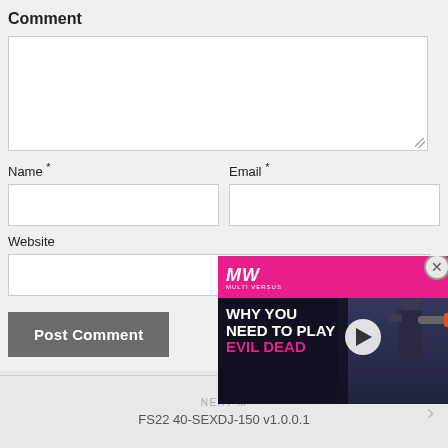Comment
[Figure (screenshot): Comment text area input box]
Name *
Email *
[Figure (screenshot): Name input field]
[Figure (screenshot): Email input field]
Website
[Figure (screenshot): Website input field]
[Figure (screenshot): Post Comment button]
[Figure (screenshot): Video ad overlay: MW logo, WHY YOU NEED TO PLAY EVIL DEAD, play button, close button]
NEXT M…
FS22 40-SEXDJ-150 v1.0.0.1